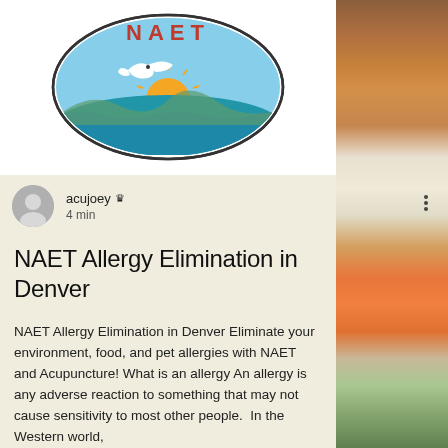[Figure (logo): NAET logo — oval shape with colorful sunrise/beach scene and a dove, text NAET around the top]
[Figure (photo): Right-side vertical strip photo showing food items including carrots, cheese, and herbs/flowers on a wooden surface]
acujoey 👑 4 min
NAET Allergy Elimination in Denver
NAET Allergy Elimination in Denver Eliminate your environment, food, and pet allergies with NAET and Acupuncture! What is an allergy An allergy is any adverse reaction to something that may not cause sensitivity to most other people.  In the Western world,